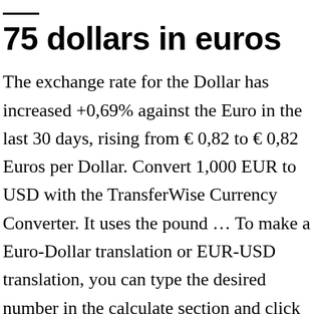75 dollars in euros
The exchange rate for the Dollar has increased +0,69% against the Euro in the last 30 days, rising from € 0,82 to € 0,82 Euros per Dollar. Convert 1,000 EUR to USD with the TransferWise Currency Converter. It uses the pound … To make a Euro-Dollar translation or EUR-USD translation, you can type the desired number in the calculate section and click the calculate button. Dollars per pound . Prezzi Spot Forex in tempo reale